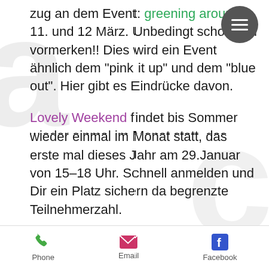zug an dem Event: greening around, 11. und 12 März. Unbedingt schon mal vormerken!! Dies wird ein Event ähnlich dem "pink it up" und dem "blue out". Hier gibt es Eindrücke davon.
Lovely Weekend findet bis Sommer wieder einmal im Monat statt, das erste mal dieses Jahr am 29.Januar von 15–18 Uhr. Schnell anmelden und Dir ein Platz sichern da begrenzte Teilnehmerzahl.
...hat jemand grünes Material zu Hause oder bei der Arbeit das Ihr
Phone   Email   Facebook